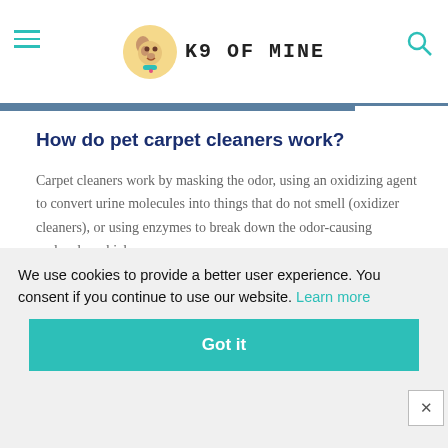K9 OF MINE
How do pet carpet cleaners work?
Carpet cleaners work by masking the odor, using an oxidizing agent to convert urine molecules into things that do not smell (oxidizer cleaners), or using enzymes to break down the odor-causing molecules which are
We use cookies to provide a better user experience. You consent if you continue to use our website. Learn more
Got it